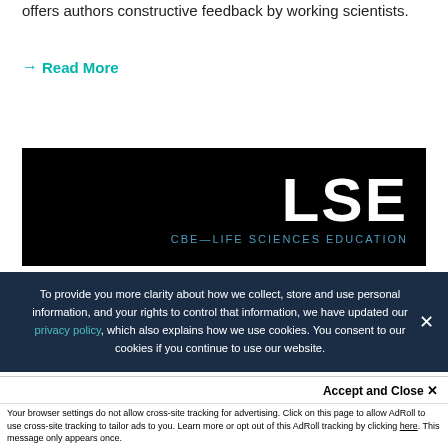offers authors constructive feedback by working scientists.
→ Read More
[Figure (logo): Black banner with white bold text 'LSE' and teal subtitle 'CBE—LIFE SCIENCES EDUCATION']
To provide you more clarity about how we collect, store and use personal information, and your rights to control that information, we have updated our privacy policy, which also explains how we use cookies. You consent to our cookies if you continue to use our website.
Accept and Close ✕
Your browser settings do not allow cross-site tracking for advertising. Click on this page to allow AdRoll to use cross-site tracking to tailor ads to you. Learn more or opt out of this AdRoll tracking by clicking here. This message only appears once.